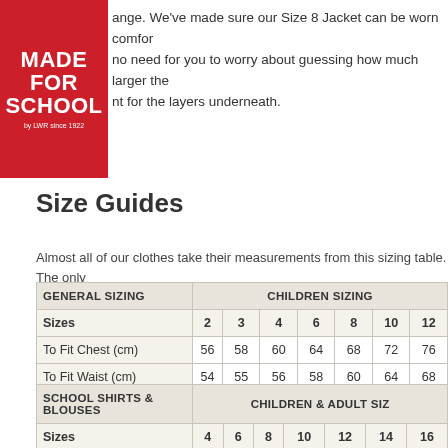[Figure (logo): Made For School by LWR since 1922 logo, red background with white bold text]
ange. We've made sure our Size 8 Jacket can be worn comfort— no need for you to worry about guessing how much larger the— nt for the layers underneath.
Size Guides
Almost all of our clothes take their measurements from this sizing table. The only
| GENERAL SIZING | CHILDREN SIZING |  |  |  |  |  |  |
| --- | --- | --- | --- | --- | --- | --- | --- |
| Sizes | 2 | 3 | 4 | 6 | 8 | 10 | 12 |
| To Fit Chest (cm) | 56 | 58 | 60 | 64 | 68 | 72 | 76 |
| To Fit Waist (cm) | 54 | 55 | 56 | 58 | 60 | 64 | 68 |
| To Fit Height (cm) | 92 | 100 | 108 | 120 | 130 | 140 | 150 |
| SCHOOL SHIRTS & BLOUSES | CHILDREN & ADULT SIZ |  |  |  |  |  |  |
| --- | --- | --- | --- | --- | --- | --- | --- |
| Sizes | 4 | 6 | 8 | 10 | 12 | 14 | 16 |